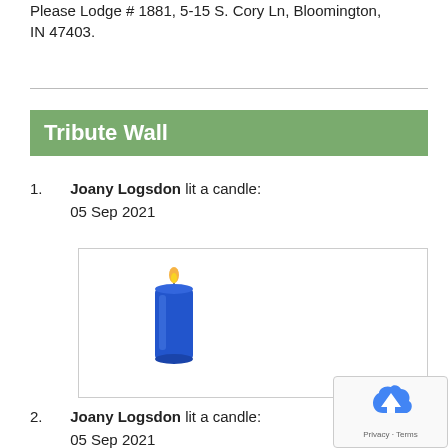Please Lodge # 1881, 5-15 S. Cory Ln, Bloomington, IN 47403.
Tribute Wall
1. Joany Logsdon lit a candle: 05 Sep 2021
[Figure (illustration): Blue pillar candle with a lit flame, displayed inside a bordered white box.]
2. Joany Logsdon lit a candle: 05 Sep 2021